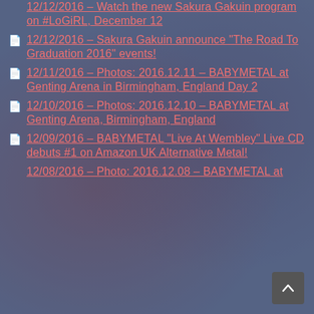12/12/2016 – Watch the new Sakura Gakuin program on #LoGiRL, December 12
12/12/2016 – Sakura Gakuin announce "The Road To Graduation 2016" events!
12/11/2016 – Photos: 2016.12.11 – BABYMETAL at Genting Arena in Birmingham, England Day 2
12/10/2016 – Photos: 2016.12.10 – BABYMETAL at Genting Arena, Birmingham, England
12/09/2016 – BABYMETAL "Live At Wembley" Live CD debuts #1 on Amazon UK Alternative Metal!
12/08/2016 – Photo: 2016.12.08 – BABYMETAL at